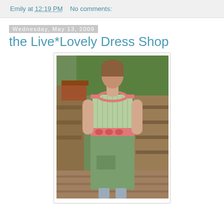Emily at 12:19 PM   No comments:
Wednesday, May 13, 2009
the Live*Lovely Dress Shop
[Figure (photo): A woman wearing a green dress with pink ribbon waist detail and ribbed bodice, standing on a wooden deck with plants in the background.]